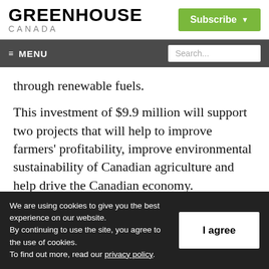GREENHOUSE CANADA | Subscribe
≡ MENU | Search...
through renewable fuels.
This investment of $9.9 million will support two projects that will help to improve farmers' profitability, improve environmental sustainability of Canadian agriculture and help drive the Canadian economy.
We are using cookies to give you the best experience on our website. By continuing to use the site, you agree to the use of cookies. To find out more, read our privacy policy.